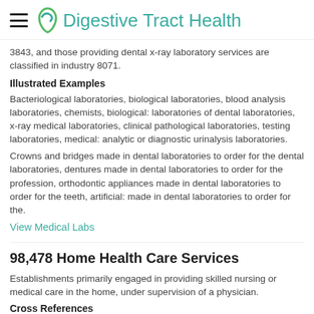Digestive Tract Health
3843, and those providing dental x-ray laboratory services are classified in industry 8071.
Illustrated Examples
Bacteriological laboratories, biological laboratories, blood analysis laboratories, chemists, biological: laboratories of dental laboratories, x-ray medical laboratories, clinical pathological laboratories, testing laboratories, medical: analytic or diagnostic urinalysis laboratories.
Crowns and bridges made in dental laboratories to order for the dental laboratories, dentures made in dental laboratories to order for the profession, orthodontic appliances made in dental laboratories to order for the teeth, artificial: made in dental laboratories to order for the.
View Medical Labs
98,478 Home Health Care Services
Establishments primarily engaged in providing skilled nursing or medical care in the home, under supervision of a physician.
Cross References
Establishments of registered or practical nurses engaged in the